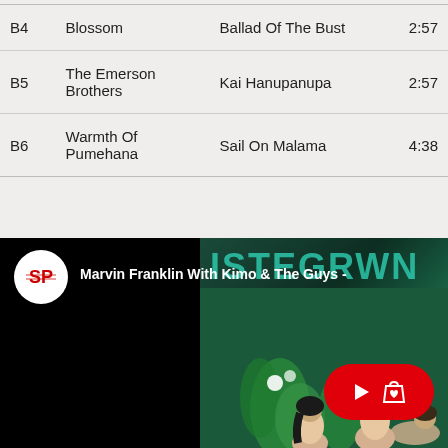|  | Artist | Title | Duration |
| --- | --- | --- | --- |
| B4 | Blossom | Ballad Of The Bust | 2:57 |
| B5 | The Emerson Brothers | Kai Hanupanupa | 2:57 |
| B6 | Warmth Of Pumehana | Sail On Malama | 4:38 |
[Figure (screenshot): YouTube-style video thumbnail showing SP (Southpaw) logo, title 'Marvin Franklin With Kimo & The Guys', dark background with teal lettering, illustrated figures of people with plants, and a red play/shop button overlay]